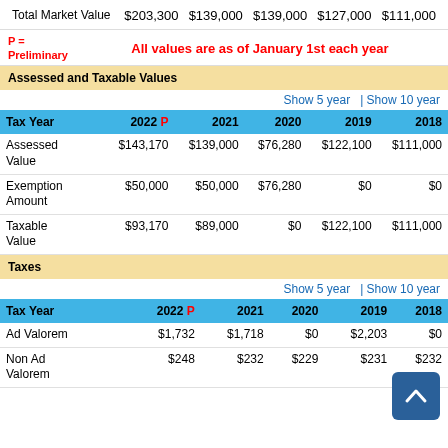| Total Market Value | 2022 P | 2021 | 2020 | 2019 | 2018 |
| --- | --- | --- | --- | --- | --- |
| Total Market Value | $203,300 | $139,000 | $139,000 | $127,000 | $111,000 |
P = Preliminary
All values are as of January 1st each year
Assessed and Taxable Values
| Tax Year | 2022 P | 2021 | 2020 | 2019 | 2018 |
| --- | --- | --- | --- | --- | --- |
| Assessed Value | $143,170 | $139,000 | $76,280 | $122,100 | $111,000 |
| Exemption Amount | $50,000 | $50,000 | $76,280 | $0 | $0 |
| Taxable Value | $93,170 | $89,000 | $0 | $122,100 | $111,000 |
Taxes
| Tax Year | 2022 P | 2021 | 2020 | 2019 | 2018 |
| --- | --- | --- | --- | --- | --- |
| Ad Valorem | $1,732 | $1,718 | $0 | $2,203 | $0 |
| Non Ad Valorem | $248 | $232 | $229 | $231 | $232 |